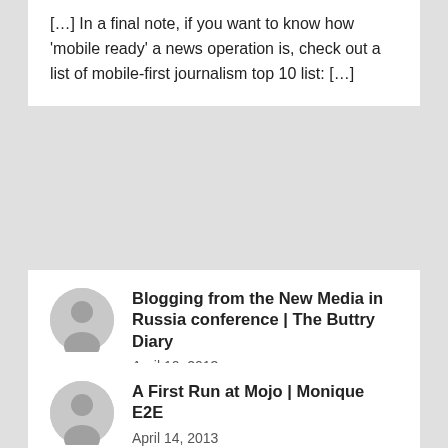[…] In a final note, if you want to know how 'mobile ready' a news operation is, check out a list of mobile-first journalism top 10 list: […]
Blogging from the New Media in Russia conference | The Buttry Diary
April 10, 2013
[…] @dkiesow blog post on what mobile first is: kiesow.net/2013/03/23/mob… […]
A First Run at Mojo | Monique E2E
April 14, 2013